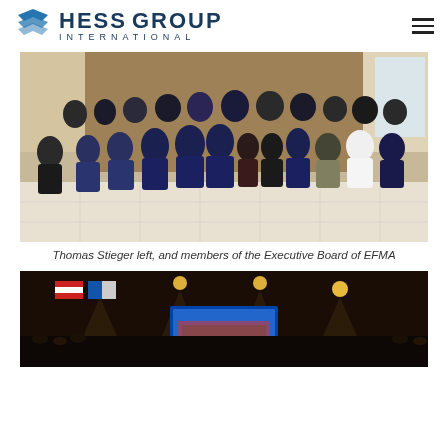HESS GROUP INTERNATIONAL
[Figure (photo): Group photo of Thomas Stieger and members of the Executive Board of EFMA, standing together in an indoor room with tiled floor and curtained background.]
Thomas Stieger left, and members of the Executive Board of EFMA
[Figure (photo): Indoor sports/event arena with stage lighting, flags, and what appears to be a boxing or martial arts ring visible in the background.]